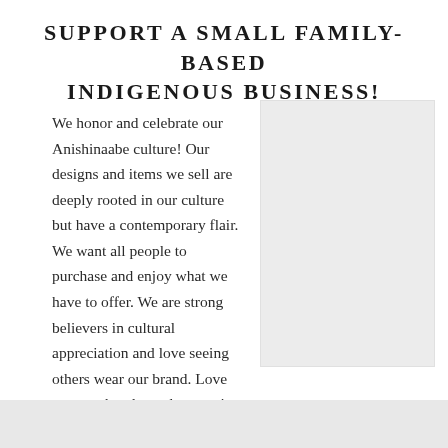SUPPORT A SMALL FAMILY-BASED INDIGENOUS BUSINESS!
We honor and celebrate our Anishinaabe culture! Our designs and items we sell are deeply rooted in our culture but have a contemporary flair. We want all people to purchase and enjoy what we have to offer. We are strong believers in cultural appreciation and love seeing others wear our brand. Love one another, love always wins
[Figure (photo): Light gray image placeholder rectangle on the right side of the page]